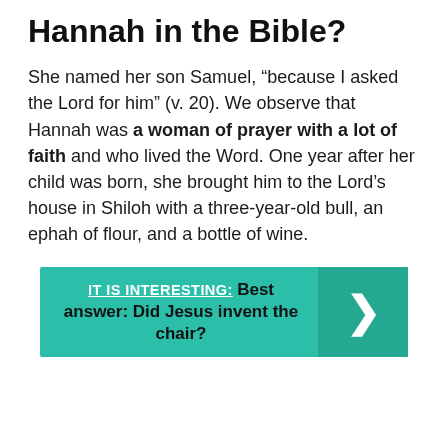Hannah in the Bible?
She named her son Samuel, “because I asked the Lord for him” (v. 20). We observe that Hannah was a woman of prayer with a lot of faith and who lived the Word. One year after her child was born, she brought him to the Lord’s house in Shiloh with a three-year-old bull, an ephah of flour, and a bottle of wine.
IT IS INTERESTING: Best answer: Did Jesus invent the chair?